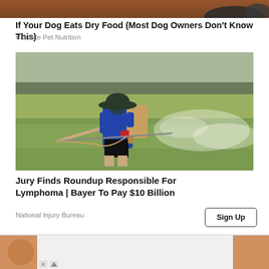[Figure (photo): Partial cropped image at the top of the page showing a brown wooden surface and a dark animal (dog) partially visible]
If Your Dog Eats Dry Food (Most Dog Owners Don't Know This)
Ultimate Pet Nutrition
[Figure (photo): A person wearing a blue long-sleeve shirt, black shorts, and a wide-brim hat, carrying a backpack sprayer and spraying pesticide/herbicide over a green rice paddy field]
Jury Finds Roundup Responsible For Lymphoma | Bayer To Pay $10 Billion
National Injury Bureau
[Figure (infographic): Advertisement banner for Business Cloud Storage SW with a blue SEE MORE button and X/Taboola icons]